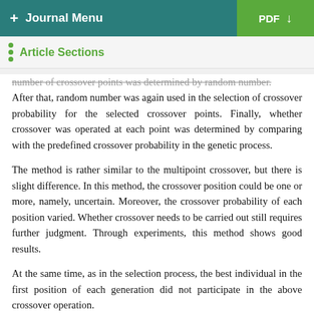+ Journal Menu | PDF ↓
Article Sections
number of crossover points was determined by random number. After that, random number was again used in the selection of crossover probability for the selected crossover points. Finally, whether crossover was operated at each point was determined by comparing with the predefined crossover probability in the genetic process.
The method is rather similar to the multipoint crossover, but there is slight difference. In this method, the crossover position could be one or more, namely, uncertain. Moreover, the crossover probability of each position varied. Whether crossover needs to be carried out still requires further judgment. Through experiments, this method shows good results.
At the same time, as in the selection process, the best individual in the first position of each generation did not participate in the above crossover operation.
(4) Mutation. Genetic mutation exists in the process of biological